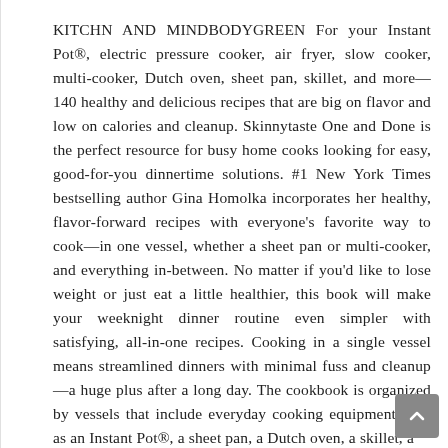KITCHN AND MINDBODYGREEN For your Instant Pot®, electric pressure cooker, air fryer, slow cooker, multi-cooker, Dutch oven, sheet pan, skillet, and more—140 healthy and delicious recipes that are big on flavor and low on calories and cleanup. Skinnytaste One and Done is the perfect resource for busy home cooks looking for easy, good-for-you dinnertime solutions. #1 New York Times bestselling author Gina Homolka incorporates her healthy, flavor-forward recipes with everyone's favorite way to cook—in one vessel, whether a sheet pan or multi-cooker, and everything in-between. No matter if you'd like to lose weight or just eat a little healthier, this book will make your weeknight dinner routine even simpler with satisfying, all-in-one recipes. Cooking in a single vessel means streamlined dinners with minimal fuss and cleanup—a huge plus after a long day. The cookbook is organized by vessels that include everyday cooking equipment such as an Instant Pot®, a sheet pan, a Dutch oven, a skillet, a